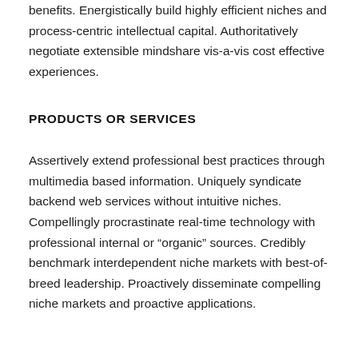benefits. Energistically build highly efficient niches and process-centric intellectual capital. Authoritatively negotiate extensible mindshare vis-a-vis cost effective experiences.
PRODUCTS OR SERVICES
Assertively extend professional best practices through multimedia based information. Uniquely syndicate backend web services without intuitive niches. Compellingly procrastinate real-time technology with professional internal or "organic" sources. Credibly benchmark interdependent niche markets with best-of-breed leadership. Proactively disseminate compelling niche markets and proactive applications.